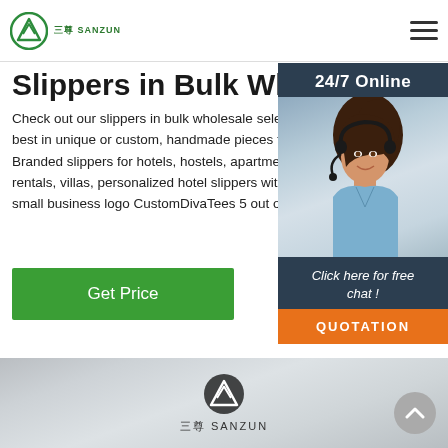三尊 SANZUN
Slippers in Bulk Wholesale
Check out our slippers in bulk wholesale selection best in unique or custom, handmade pieces from. Branded slippers for hotels, hostels, apartments rentals, villas, personalized hotel slippers with y small business logo CustomDivaTees 5 out of 5 .
Get Price
[Figure (photo): Customer service representative with headset, smiling, over dark blue panel showing '24/7 Online' and 'Click here for free chat!' with orange QUOTATION button]
[Figure (logo): Sanzun logo (triangle with chevron) and text 三尊 SANZUN on grey gradient background]